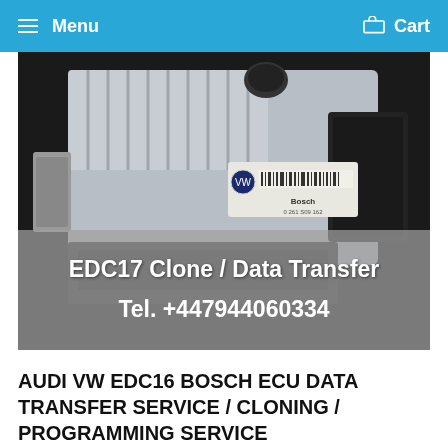Menu   Cart
[Figure (photo): Photo of an automotive ECU (Engine Control Unit) module — a silver/grey rectangular metal unit with heat sink fins on top and a Bosch label, shown against a dark background. Overlaid text on a semi-transparent grey band reads: 'EDC17 Clone / Data Transfer' and 'Tel. +447944060334']
AUDI VW EDC16 BOSCH ECU DATA TRANSFER SERVICE / CLONING / PROGRAMMING SERVICE